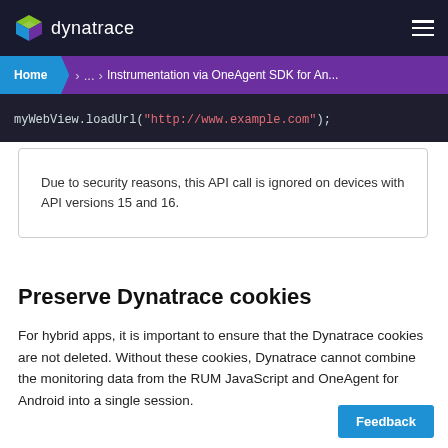dynatrace — Instrumentation via OneAgent SDK for An...
myWebView.loadUrl("http://www.example.com");
Due to security reasons, this API call is ignored on devices with API versions 15 and 16.
Preserve Dynatrace cookies
For hybrid apps, it is important to ensure that the Dynatrace cookies are not deleted. Without these cookies, Dynatrace cannot combine the monitoring data from the RUM JavaScript and OneAgent for Android into a single session.